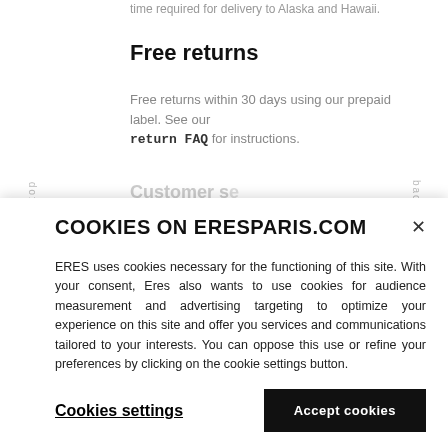time required for delivery to Alaska and Hawaii.
Free returns
Free returns within 30 days using our prepaid label. See our return FAQ for instructions.
Customer service (partial, cut off)
COOKIES ON ERESPARIS.COM
ERES uses cookies necessary for the functioning of this site. With your consent, Eres also wants to use cookies for audience measurement and advertising targeting to optimize your experience on this site and offer you services and communications tailored to your interests. You can oppose this use or refine your preferences by clicking on the cookie settings button.
Cookies settings
Accept cookies